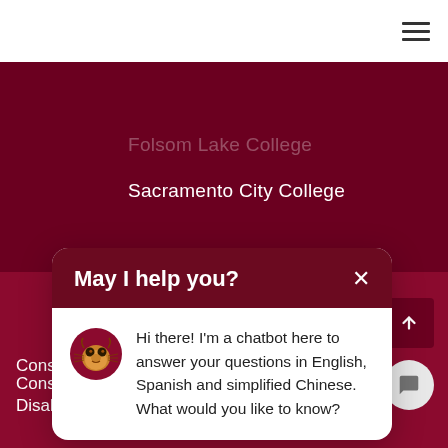Folsom Lake College
Sacramento City College
Accessibility Issues
Accreditation
Consumer…
Disab…
Equity…
Privac…
Safety…
Sexual…
[Figure (screenshot): Chatbot popup dialog titled 'May I help you?' with a panther mascot avatar and message: Hi there! I'm a chatbot here to answer your questions in English, Spanish and simplified Chinese. What would you like to know?]